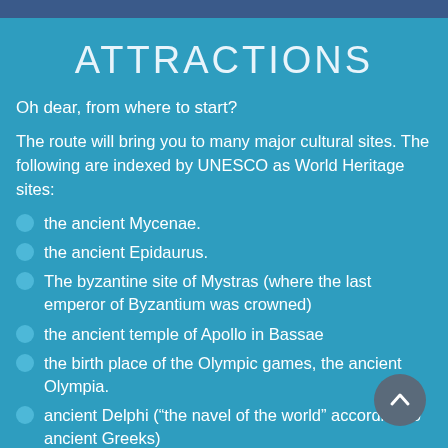ATTRACTIONS
Oh dear, from where to start?
The route will bring you to many major cultural sites. The following are indexed by UNESCO as World Heritage sites:
the ancient Mycenae.
the ancient Epidaurus.
The byzantine site of Mystras (where the last emperor of Byzantium was crowned)
the ancient temple of Apollo in Bassae
the birth place of the Olympic games, the ancient Olympia.
ancient Delphi (“the navel of the world” according to ancient Greeks)